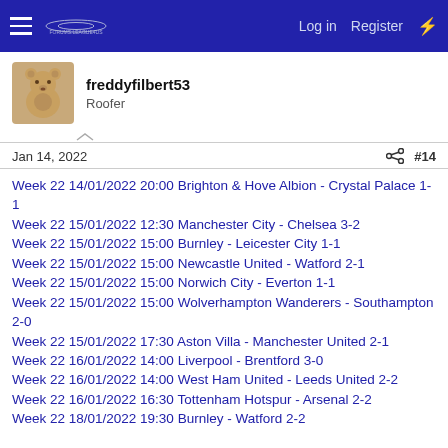Log in  Register
freddyfilbert53
Roofer
Jan 14, 2022  #14
Week 22 14/01/2022 20:00 Brighton & Hove Albion - Crystal Palace 1-1
Week 22 15/01/2022 12:30 Manchester City - Chelsea 3-2
Week 22 15/01/2022 15:00 Burnley - Leicester City 1-1
Week 22 15/01/2022 15:00 Newcastle United - Watford 2-1
Week 22 15/01/2022 15:00 Norwich City - Everton 1-1
Week 22 15/01/2022 15:00 Wolverhampton Wanderers - Southampton 2-0
Week 22 15/01/2022 17:30 Aston Villa - Manchester United 2-1
Week 22 16/01/2022 14:00 Liverpool - Brentford 3-0
Week 22 16/01/2022 14:00 West Ham United - Leeds United 2-2
Week 22 16/01/2022 16:30 Tottenham Hotspur - Arsenal 2-2
Week 22 18/01/2022 19:30 Burnley - Watford 2-2